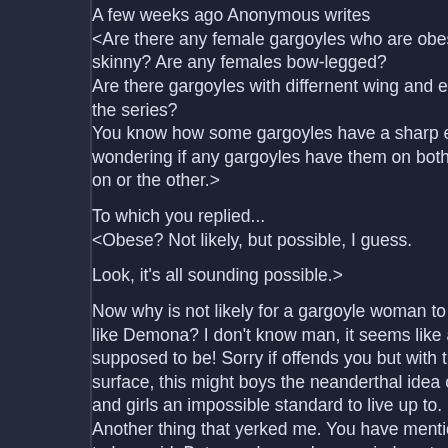A few weeks ago Anonymous writes
<Are there any female gargoyles who are obese? Ho skinny? Are any females bow-legged?
Are there gargoyles with differnent wing and ear type the series?
You know how some gargoyles have a sharp elbow c wondering if any gargoyles have them on both knees on or the other.>

To which you replied...
<Obese? Not likely, but possible, I guess.

Look, it's all sounding possible.>

Now why is not likely for a gargoyle woman to be obe like Demona? I don't know man, it seems like a sexis supposed to be! Sorry if offends you but with the gar surface, this might boys the neanderthal idea of what and girls an impossible standard to live up to. Now d Another thing that yerked me. You have mentioned th to be a girl. But you changed your minds out of fear o about the evil/fat issue among the two female charac